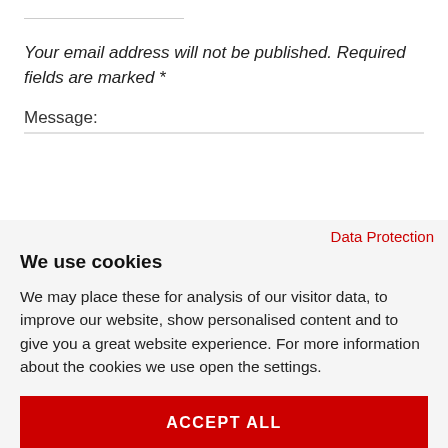Your email address will not be published. Required fields are marked *
Message:
Data Protection
We use cookies
We may place these for analysis of our visitor data, to improve our website, show personalised content and to give you a great website experience. For more information about the cookies we use open the settings.
ACCEPT ALL
DENY
COOKIE SETTINGS